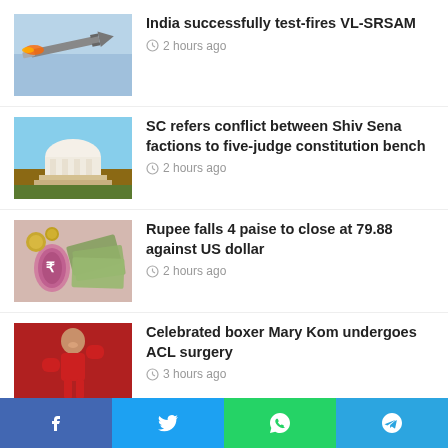India successfully test-fires VL-SRSAM
2 hours ago
SC refers conflict between Shiv Sena factions to five-judge constitution bench
2 hours ago
Rupee falls 4 paise to close at 79.88 against US dollar
2 hours ago
Celebrated boxer Mary Kom undergoes ACL surgery
3 hours ago
Supreme Court strikes down...
[Figure (screenshot): Social media share bar with Facebook, Twitter, WhatsApp, Telegram buttons]